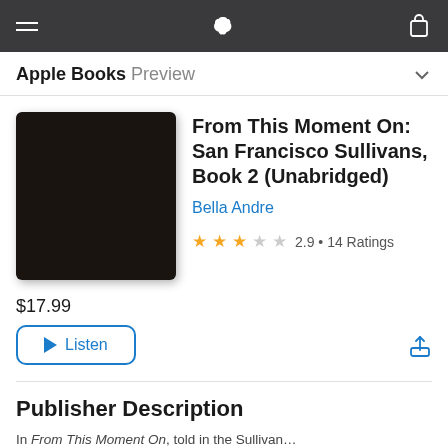Apple Books Preview
From This Moment On: San Francisco Sullivans, Book 2 (Unabridged)
Bella Andre
2.9 • 14 Ratings
$17.99
Listen
Publisher Description
In From This Moment On...